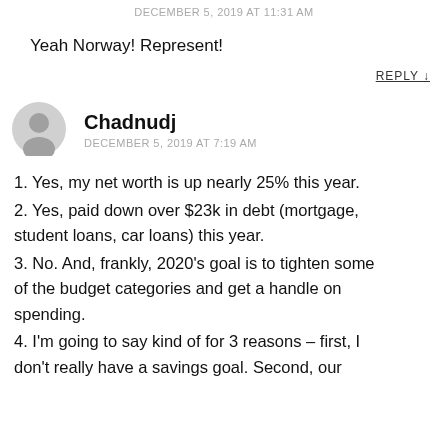DECEMBER 5, 2019 AT 11:31 AM
Yeah Norway! Represent!
REPLY ↓
Chadnudj
DECEMBER 5, 2019 AT 7:19 AM
1. Yes, my net worth is up nearly 25% this year.
2. Yes, paid down over $23k in debt (mortgage, student loans, car loans) this year.
3. No. And, frankly, 2020's goal is to tighten some of the budget categories and get a handle on spending.
4. I'm going to say kind of for 3 reasons – first, I don't really have a savings goal. Second, our